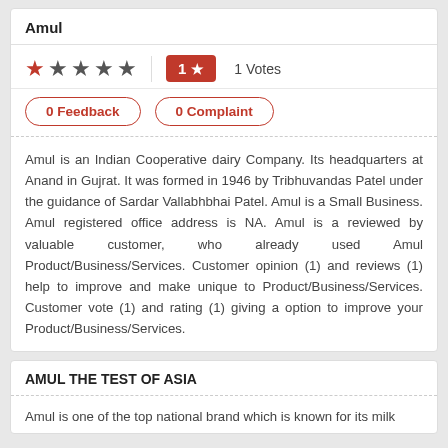Amul
★★★★★  1 ★  1 Votes
0 Feedback   0 Complaint
Amul is an Indian Cooperative dairy Company. Its headquarters at Anand in Gujrat. It was formed in 1946 by Tribhuvandas Patel under the guidance of Sardar Vallabhbhai Patel. Amul is a Small Business. Amul registered office address is NA. Amul is a reviewed by valuable customer, who already used Amul Product/Business/Services. Customer opinion (1) and reviews (1) help to improve and make unique to Product/Business/Services. Customer vote (1) and rating (1) giving a option to improve your Product/Business/Services.
AMUL THE TEST OF ASIA
Amul is one of the top national brand which is known for its milk